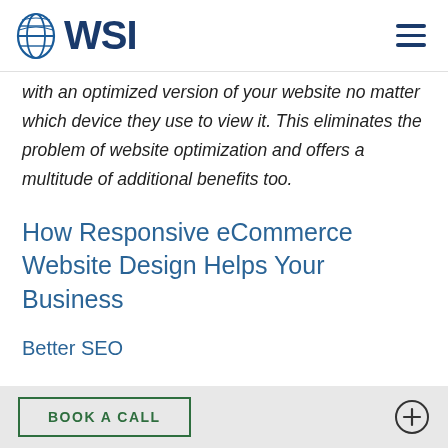WSI
with an optimized version of your website no matter which device they use to view it. This eliminates the problem of website optimization and offers a multitude of additional benefits too.
How Responsive eCommerce Website Design Helps Your Business
Better SEO